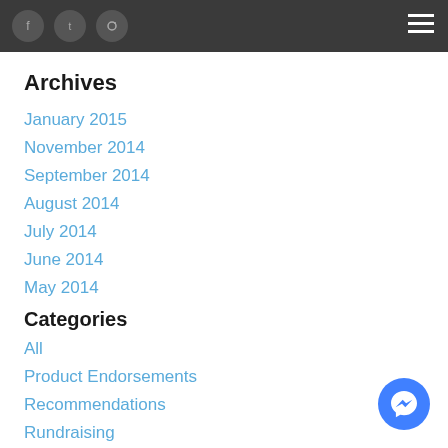Social icons and hamburger menu
Archives
January 2015
November 2014
September 2014
August 2014
July 2014
June 2014
May 2014
Categories
All
Product Endorsements
Recommendations
Rundraising
RunJunkEe
Running Help
Why I Run